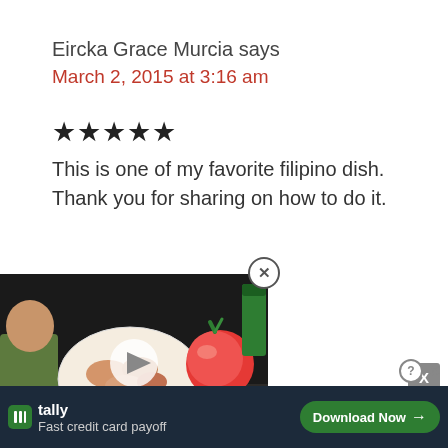Eircka Grace Murcia says
March 2, 2015 at 3:16 am
★★★★★
This is one of my favorite filipino dish. Thank you for sharing on how to do it.
[Figure (screenshot): Video thumbnail showing a Filipino food recipe video titled 'GAWIN MO ITO SA BABOY !!!' with a bowl of pork, tomatoes, and a person in the background. Has a play button overlay.]
s
5 at 9:04 pm
Y
[Figure (screenshot): Tally advertisement banner: Fast credit card payoff, Download Now button]